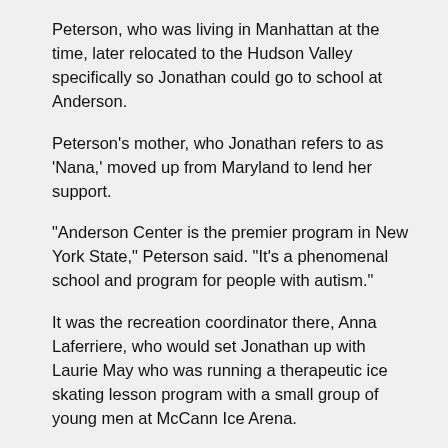Peterson, who was living in Manhattan at the time, later relocated to the Hudson Valley specifically so Jonathan could go to school at Anderson.
Peterson's mother, who Jonathan refers to as 'Nana,' moved up from Maryland to lend her support.
“Anderson Center is the premier program in New York State,” Peterson said. “It’s a phenomenal school and program for people with autism.”
It was the recreation coordinator there, Anna Laferriere, who would set Jonathan up with Laurie May who was running a therapeutic ice skating lesson program with a small group of young men at McCann Ice Arena.
“It was a very beginner class,” Peterson said.
She added she thought skating might be something that would click with her son whom she described as a “positive, happy guy with a great sense of humor who loves school and his family.”